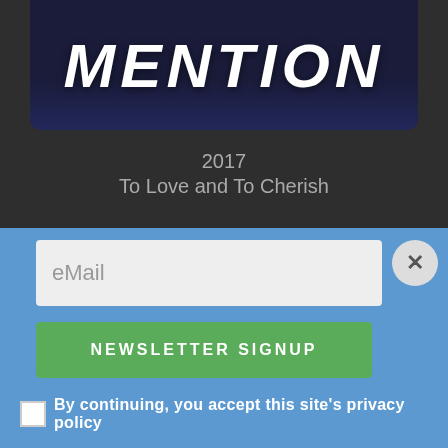[Figure (illustration): Dark navy blue banner with the word MENTION in large bold white italic text]
2017
To Love and To Cherish
[Figure (illustration): Colorful banner with a surprised man's face in the center, a star shape on the left, and gradient background from blue to purple]
[Figure (screenshot): Newsletter signup overlay on blue background with email input field, NEWSLETTER SIGNUP button in green, close X button, and privacy policy checkbox]
eMail
NEWSLETTER SIGNUP
By continuing, you accept this site's privacy policy